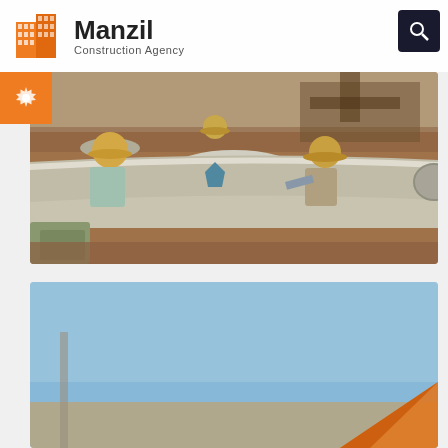Manzil Construction Agency
[Figure (photo): Construction workers in a trench laying a large concrete pipe/culvert. Workers wearing straw hats are working around the pipe, with excavation equipment visible in the background. Bags of construction material are in the foreground.]
[Figure (photo): Partial view of a second construction site photo showing blue sky and a peaked roof/chevron shape in the lower right corner.]